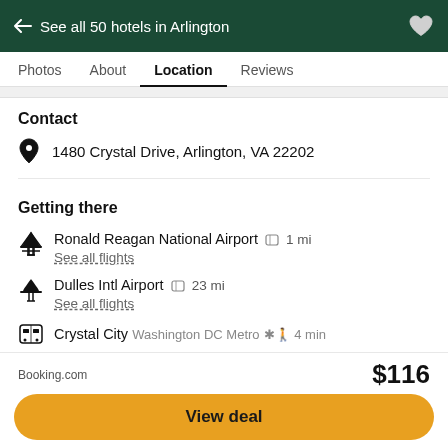← See all 50 hotels in Arlington
Contact
1480 Crystal Drive, Arlington, VA 22202
Getting there
Ronald Reagan National Airport  1 mi
See all flights
Dulles Intl Airport  23 mi
See all flights
Crystal City  Washington DC Metro  4 min
Pentagon City  Washington DC Metro  10 min
See all nearby hotels
Booking.com  $116
View deal